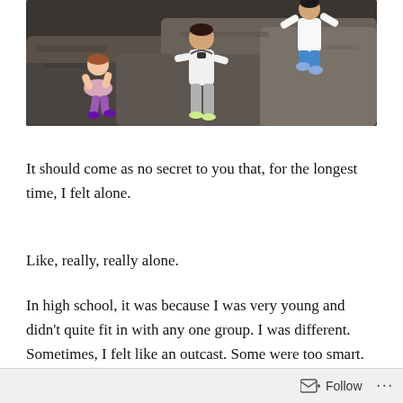[Figure (photo): Photo of people (children and adults) climbing and jumping on large rocks outdoors. One child sits on a rock on the left, a person walks in the center, and another person jumps in the air on the right.]
It should come as no secret to you that, for the longest time, I felt alone.
Like, really, really alone.
In high school, it was because I was very young and didn't quite fit in with any one group. I was different. Sometimes, I felt like an outcast. Some were too smart. Others were too athletic. I tried to stay away from the troublemakers,
Follow ···